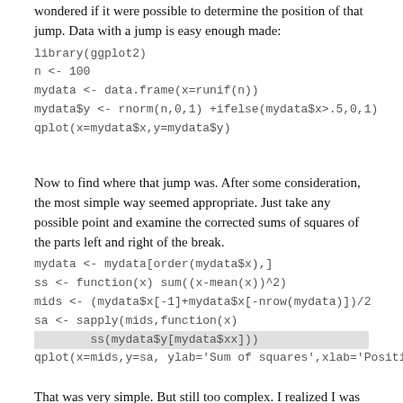wondered if it were possible to determine the position of that jump. Data with a jump is easy enough made:
library(ggplot2)
n <- 100
mydata <- data.frame(x=runif(n))
mydata$y <- rnorm(n,0,1) +ifelse(mydata$x>.5,0,1)
qplot(x=mydata$x,y=mydata$y)
Now to find where that jump was. After some consideration, the most simple way seemed appropriate. Just take any possible point and examine the corrected sums of squares of the parts left and right of the break.
mydata <- mydata[order(mydata$x),]
ss <- function(x) sum((x-mean(x))^2)
mids <- (mydata$x[-1]+mydata$x[-nrow(mydata)])/2
sa <- sapply(mids,function(x)
ss(mydata$y[mydata$xx])
qplot(x=mids,y=sa, ylab='Sum of squares',xlab='Position of break')
That was very simple. But still too complex. I realized I was recreating a tree with only one node. There is a way to get that first node more quickly: